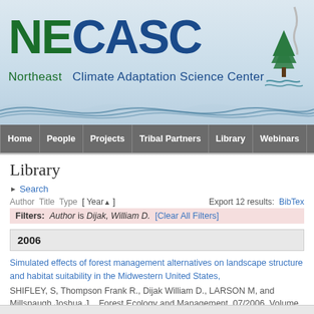[Figure (logo): NECASC Northeast Climate Adaptation Science Center logo with tree/heron icon and wave decoration]
Home  People  Projects  Tribal Partners  Library  Webinars
Library
Search
Author Title Type [ Year ] Export 12 results: BibTex
Filters: Author is Dijak, William D. [Clear All Filters]
2006
Simulated effects of forest management alternatives on landscape structure and habitat suitability in the Midwestern United States, SHIFLEY, S, Thompson Frank R., Dijak William D., LARSON M, and Millspaugh Joshua J. , Forest Ecology and Management, 07/2006, Volume 229, p.361 - 377, (2006) Google Scholar BibTex